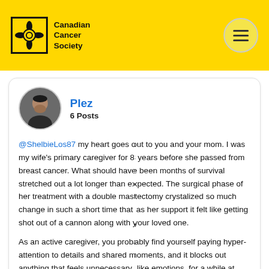[Figure (logo): Canadian Cancer Society logo with daffodil flower icon and organization name]
Plez
6 Posts
@ShelbieLos87 my heart goes out to you and your mom. I was my wife's primary caregiver for 8 years before she passed from breast cancer. What should have been months of survival stretched out a lot longer than expected. The surgical phase of her treatment with a double mastectomy crystalized so much change in such a short time that as her support it felt like getting shot out of a cannon along with your loved one.
As an active caregiver, you probably find yourself paying hyper-attention to details and shared moments, and it blocks out anything that feels unnecessary, like emotions, for a while at least.
Those emotions are always present, and they can do bad things to